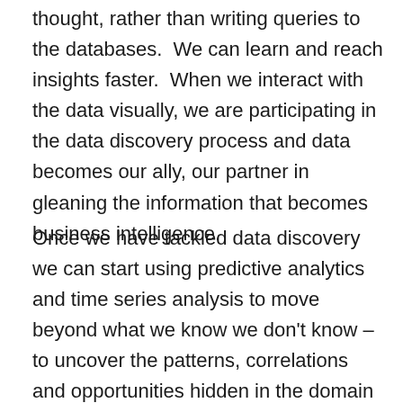thought, rather than writing queries to the databases.  We can learn and reach insights faster.  When we interact with the data visually, we are participating in the data discovery process and data becomes our ally, our partner in gleaning the information that becomes business intelligence.
Once we have tackled data discovery we can start using predictive analytics and time series analysis to move beyond what we know we don't know – to uncover the patterns, correlations and opportunities hidden in the domain of “what we don't know that we don't know”.  Data visualization is the first step...